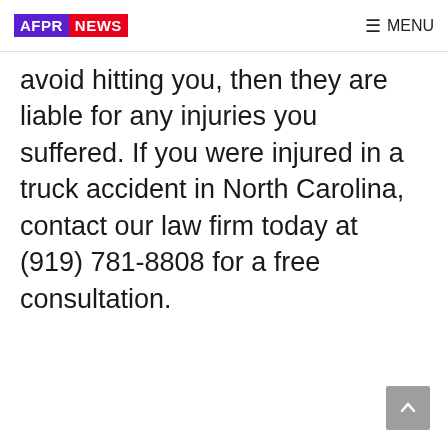AFPR NEWS — MENU
avoid hitting you, then they are liable for any injuries you suffered. If you were injured in a truck accident in North Carolina, contact our law firm today at (919) 781-8808 for a free consultation.